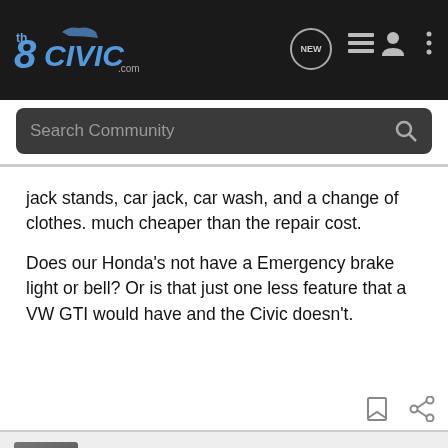[Figure (screenshot): 8thCivic.com logo and navigation bar with search icon, list icon, user icon, and more icon]
Search Community
jack stands, car jack, car wash, and a change of clothes. much cheaper than the repair cost.

Does our Honda's not have a Emergency brake light or bell? Or is that just one less feature that a VW GTI would have and the Civic doesn't.
BigT · Registered
Joined Jun 15, 2007 · 2,964 Posts
#19 · De...
[Figure (other): Pedal Commander advertisement banner: orange/black design with text YOU WILL SMILE 100% WITH PEDAL COMMANDER]